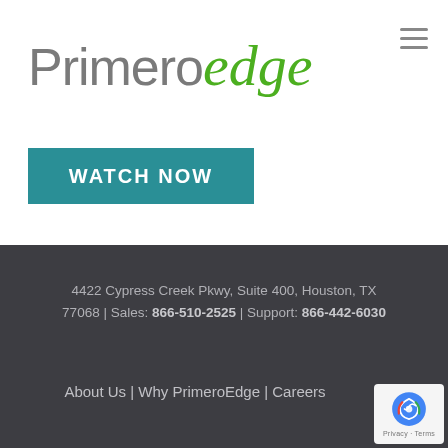[Figure (logo): PrimeroEdge logo with 'Primero' in gray and 'edge' in green cursive script]
WATCH NOW
4422 Cypress Creek Pkwy, Suite 400, Houston, TX 77068 | Sales: 866-510-2525 | Support: 866-442-6030
About Us | Why PrimeroEdge | Careers